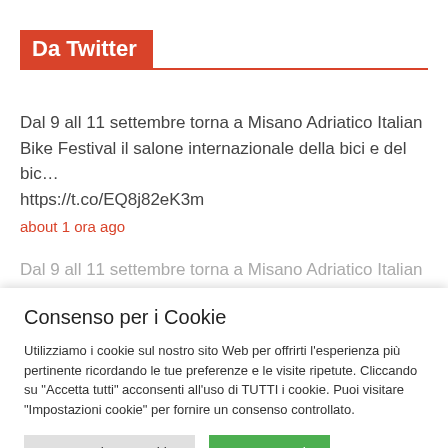Da Twitter
Dal 9 all 11 settembre torna a Misano Adriatico Italian Bike Festival il salone internazionale della bici e del bic…
https://t.co/EQ8j82eK3m
about 1 ora ago
Dal 9 all 11 settembre torna a Misano Adriatico Italian Bike
Consenso per i Cookie
Utilizziamo i cookie sul nostro sito Web per offrirti l'esperienza più pertinente ricordando le tue preferenze e le visite ripetute. Cliccando su "Accetta tutti" acconsenti all'uso di TUTTI i cookie. Puoi visitare "Impostazioni cookie" per fornire un consenso controllato.
Impostazione Cookie
Accetta tutti